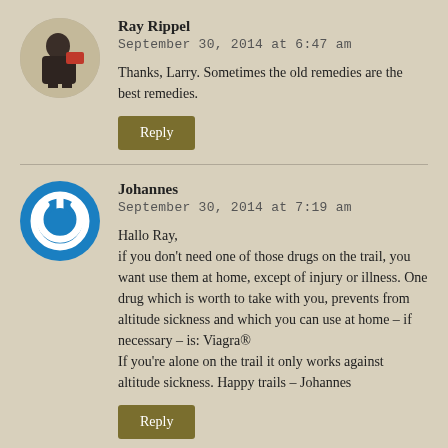Ray Rippel
September 30, 2014 at 6:47 am
Thanks, Larry. Sometimes the old remedies are the best remedies.
Reply
Johannes
September 30, 2014 at 7:19 am
Hallo Ray,
if you don't need one of those drugs on the trail, you want use them at home, except of injury or illness. One drug which is worth to take with you, prevents from altitude sickness and which you can use at home – if necessary – is: Viagra® If you're alone on the trail it only works against altitude sickness. Happy trails – Johannes
Reply